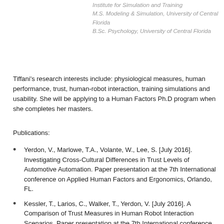Institute for Simulation and Training
M.S. Modeling & Simulation, University of Central Florida
B.Sc. Psychology, University of Central Florida
Tiffani's research interests include: physiological measures, human performance, trust, human-robot interaction, training simulations and usability. She will be applying to a Human Factors Ph.D program when she completes her masters.
Publications:
Yerdon, V., Marlowe, T.A., Volante, W., Lee, S. [July 2016]. Investigating Cross-Cultural Differences in Trust Levels of Automotive Automation. Paper presentation at the 7th International conference on Applied Human Factors and Ergonomics, Orlando, FL.
Kessler, T., Larios, C., Walker, T., Yerdon, V. [July 2016]. A Comparison of Trust Measures in Human Robot Interaction Scenarios. Paper presentation at the 7th International conference on Applied Human Factors and Ergonomics, Orlando, FL.